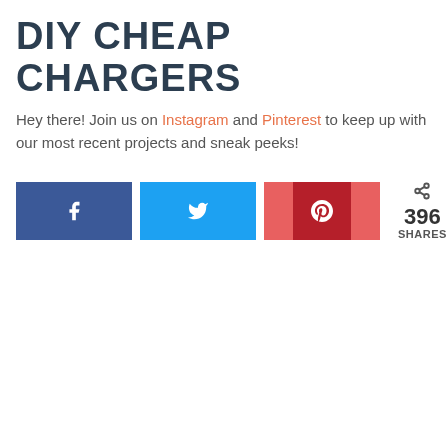DIY CHEAP CHARGERS
Hey there! Join us on Instagram and Pinterest to keep up with our most recent projects and sneak peeks!
[Figure (infographic): Social sharing buttons: Facebook (blue), Twitter (light blue), Pinterest (red/pink) and a share count showing 396 SHARES]